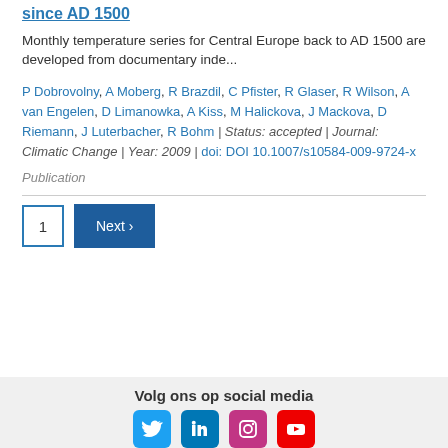since AD 1500
Monthly temperature series for Central Europe back to AD 1500 are developed from documentary inde...
P Dobrovolny, A Moberg, R Brazdil, C Pfister, R Glaser, R Wilson, A van Engelen, D Limanowka, A Kiss, M Halickova, J Mackova, D Riemann, J Luterbacher, R Bohm | Status: accepted | Journal: Climatic Change | Year: 2009 | doi: DOI 10.1007/s10584-009-9724-x
Publication
1  Next ›
Volg ons op social media